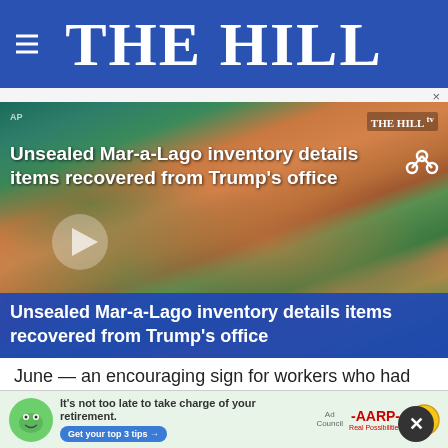THE HILL
[Figure (screenshot): Video thumbnail showing aerial photo of Mar-a-Lago estate with overlay title: Unsealed Mar-a-Lago inventory details items recovered from Trump's office. THE HILL TV badge top right, AP label top left, play button center-left, blue title bar at bottom repeating headline.]
June — an encouraging sign for workers who had been too afraid to return.
More ... said health... a job in June, but that figure dropped to just more than 15